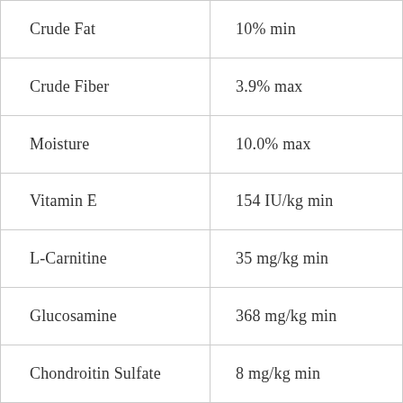|  |  |
| --- | --- |
| Crude Fat | 10% min |
| Crude Fiber | 3.9% max |
| Moisture | 10.0% max |
| Vitamin E | 154 IU/kg min |
| L-Carnitine | 35 mg/kg min |
| Glucosamine | 368 mg/kg min |
| Chondroitin Sulfate | 8 mg/kg min |